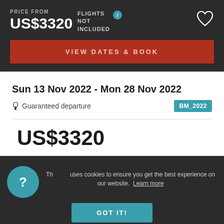PRICE FROM
US$3320
FLIGHTS NOT INCLUDED
VIEW DATES & BOOK
Sun 13 Nov 2022 - Mon 28 Nov 2022
Guaranteed departure
BM_2022
US$3320
This site uses cookies to ensure you get the best experience on our website. Learn more
GOT IT!